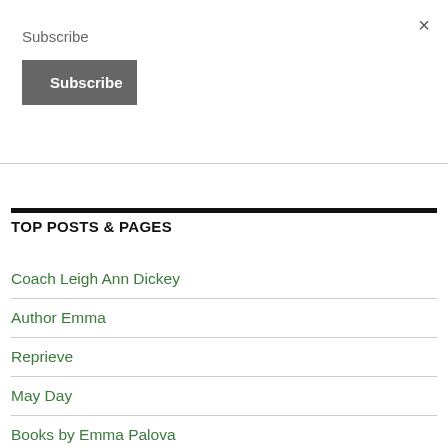×
Subscribe
Subscribe
TOP POSTS & PAGES
Coach Leigh Ann Dickey
Author Emma
Reprieve
May Day
Books by Emma Palova
Author Andrew Smith unpleasher horror in Another Slice of Fear